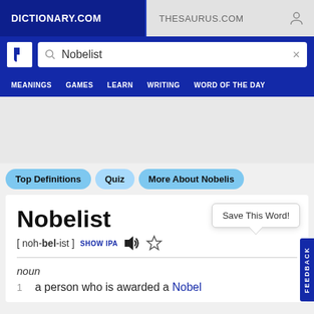DICTIONARY.COM | THESAURUS.COM
Nobelist (search query)
MEANINGS  GAMES  LEARN  WRITING  WORD OF THE DAY
Top Definitions
Quiz
More About Nobelist
Nobelist
[ noh-bel-ist ]  SHOW IPA
Save This Word!
noun
1  a person who is awarded a Nobel